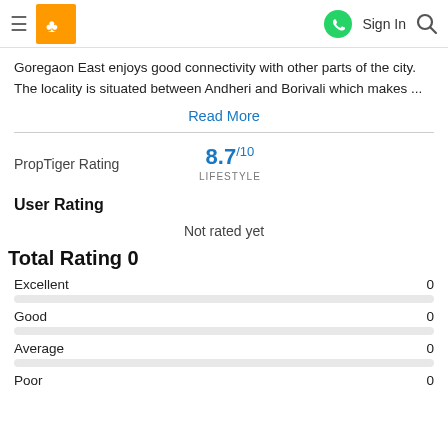PropTiger - Menu, Sign In, Search
Goregaon East enjoys good connectivity with other parts of the city. The locality is situated between Andheri and Borivali which makes ...
Read More
PropTiger Rating   8.7/10  LIFESTYLE
User Rating
Not rated yet
Total Rating 0
Excellent   0
Good   0
Average   0
Poor   0